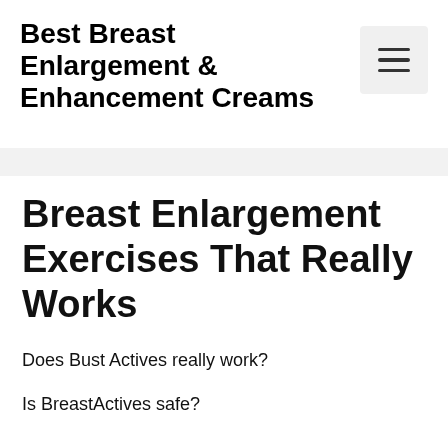Best Breast Enlargement & Enhancement Creams
Breast Enlargement Exercises That Really Works
Does Bust Actives really work?
Is BreastActives safe?